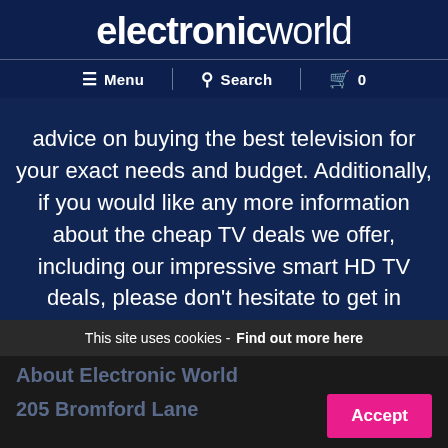electronicworld
Menu  Search  0
advice on buying the best television for your exact needs and budget. Additionally, if you would like any more information about the cheap TV deals we offer, including our impressive smart HD TV deals, please don't hesitate to get in contact with our friendly team today.
This site uses cookies - Find out more here
About Electronic World
205 Bromford Lane